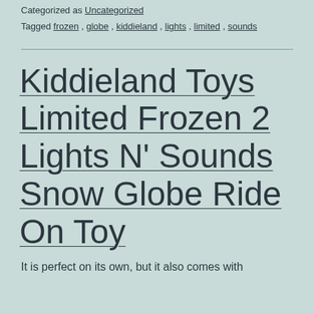Categorized as Uncategorized
Tagged frozen, globe, kiddieland, lights, limited, sounds
Kiddieland Toys Limited Frozen 2 Lights N' Sounds Snow Globe Ride On Toy
It is perfect on its own, but it also comes with